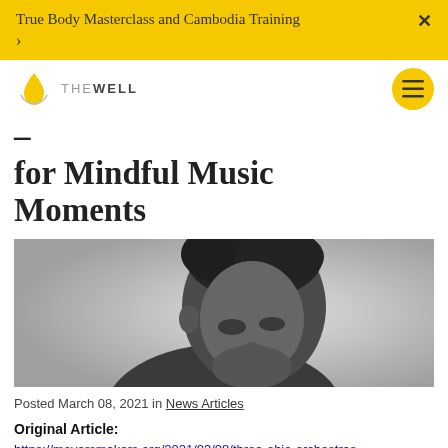True Body Masterclass and Cambodia Training >
[Figure (logo): The Well logo — water drop icon with circular arc and text THE WELL]
for Mindful Music Moments
[Figure (photo): Black and white portrait photo of a person with natural hair, head slightly bowed, looking down]
Posted March 08, 2021 in News Articles
Original Article:
https://moversmakers.org/2021/03/08/three-ohio-orchestras-